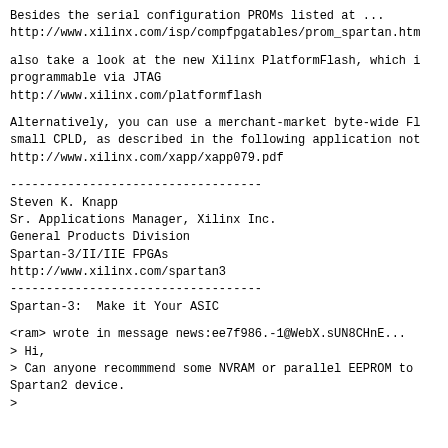Besides the serial configuration PROMs listed at ...
http://www.xilinx.com/isp/compfpgatables/prom_spartan.htm
also take a look at the new Xilinx PlatformFlash, which is
programmable via JTAG
http://www.xilinx.com/platformflash
Alternatively, you can use a merchant-market byte-wide Flash with a
small CPLD, as described in the following application note:
http://www.xilinx.com/xapp/xapp079.pdf
-----------------------------------
Steven K. Knapp
Sr. Applications Manager, Xilinx Inc.
General Products Division
Spartan-3/II/IIE FPGAs
http://www.xilinx.com/spartan3
-----------------------------------
Spartan-3:  Make it Your ASIC
<ram> wrote in message news:ee7f986.-1@WebX.sUN8CHnE...
> Hi,
> Can anyone recommmend some NVRAM or parallel EEPROM to configure a
Spartan2 device.
>
Article: 60057
Subject: Re: eeprom recommendation